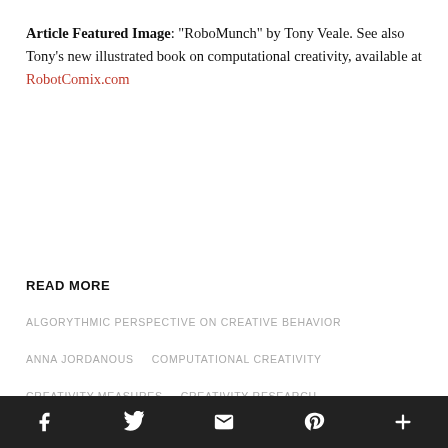Article Featured Image: "RoboMunch" by Tony Veale. See also Tony's new illustrated book on computational creativity, available at RobotComix.com
READ MORE
ALGORYTHMIC PERSPECTIVE ON CREATIVE BEHAVIOR
ANNA JORDANOUS   COMPUTATIONAL CREATIVITY
CREATIVITY MEASURES   CREATIVITY RESEARCH
CREATIVITY STUDIES   DEFINITION OF CREATIVITY
MAGGIE BODEN
Social share icons: Facebook, Twitter, Email, Pinterest, More